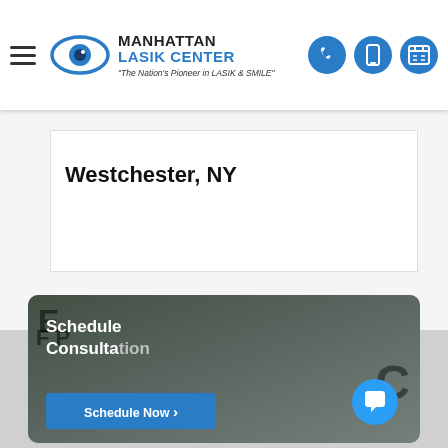[Figure (logo): Manhattan LASIK Center logo with eye graphic and tagline 'The Nation's Pioneer in LASIK & SMILE']
Westchester, NY
[Figure (photo): Hero image showing eye chart letters and glasses, with 'Schedule Consultation' text and 'Schedule Now' button overlay, plus chat popup saying 'Curious about LASIK/SMILE pricing? Click here for more...']
Curious about LASIK/SMILE pricing? Click here for more...